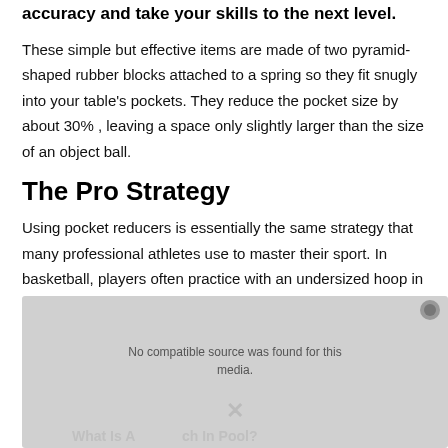accuracy and take your skills to the next level.
These simple but effective items are made of two pyramid-shaped rubber blocks attached to a spring so they fit snugly into your table's pockets. They reduce the pocket size by about 30% , leaving a space only slightly larger than the size of an object ball.
The Pro Strategy
Using pocket reducers is essentially the same strategy that many professional athletes use to master their sport. In basketball, players often practice with an undersized hoop in order to become more accurate. In football, some
[Figure (screenshot): Video player overlay showing 'No compatible source was found for this media.' message with a close button and partial bottom caption text 'What Is A... ch In Pool?']